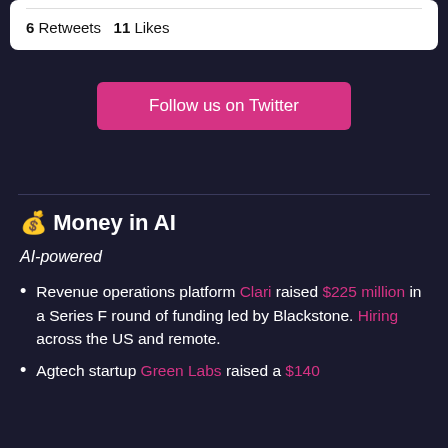6 Retweets  11 Likes
Follow us on Twitter
💰 Money in AI
AI-powered
Revenue operations platform Clari raised $225 million in a Series F round of funding led by Blackstone. Hiring across the US and remote.
Agtech startup Green Labs raised a $140